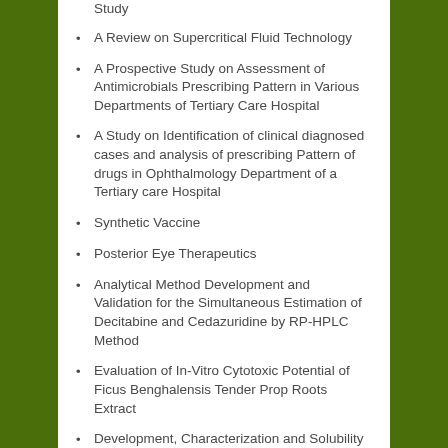Study
A Review on Supercritical Fluid Technology
A Prospective Study on Assessment of Antimicrobials Prescribing Pattern in Various Departments of Tertiary Care Hospital
A Study on Identification of clinical diagnosed cases and analysis of prescribing Pattern of drugs in Ophthalmology Department of a Tertiary care Hospital
Synthetic Vaccine
Posterior Eye Therapeutics
Analytical Method Development and Validation for the Simultaneous Estimation of Decitabine and Cedazuridine by RP-HPLC Method
Evaluation of In-Vitro Cytotoxic Potential of Ficus Benghalensis Tender Prop Roots Extract
Development, Characterization and Solubility Enhancement of Valsartan